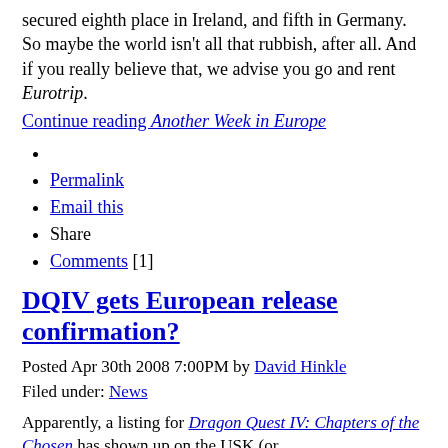secured eighth place in Ireland, and fifth in Germany. So maybe the world isn't all that rubbish, after all. And if you really believe that, we advise you go and rent Eurotrip.
Continue reading Another Week in Europe
Permalink
Email this
Share
Comments [1]
DQIV gets European release confirmation?
Posted Apr 30th 2008 7:00PM by David Hinkle
Filed under: News
Apparently, a listing for Dragon Quest IV: Chapters of the Chosen has shown up on the USK (or Unterhaltungssoftware Selbstkontrolle, but we're sticking with the easier, shorter name), Germany's classification board. Not satisfied with just knowing the title exists in their database, we hit the USK's official website to see it with our own eyes and found this listing for the game.